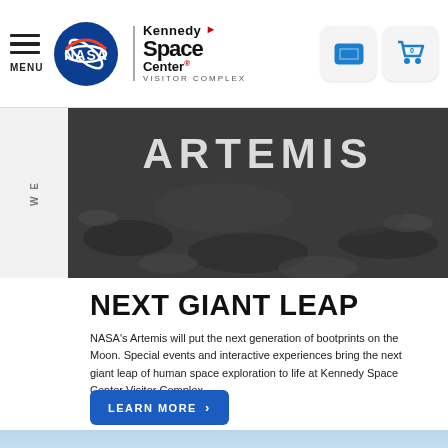MENU | NASA | Kennedy Space Center Visitor Complex
[Figure (photo): Artemis lunar surface hero image with ARTEMIS text overlay in large letters, moon surface rocky terrain in grayscale]
NEXT GIANT LEAP
NASA's Artemis will put the next generation of bootprints on the Moon. Special events and interactive experiences bring the next giant leap of human space exploration to life at Kennedy Space Center Visitor Complex.
LEARN MORE
[Figure (photo): Blue sky partial view at bottom of page]